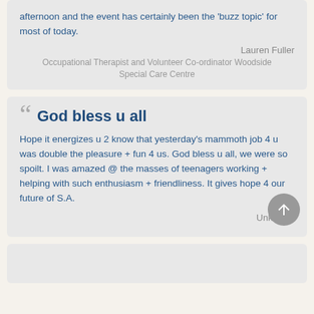afternoon and the event has certainly been the 'buzz topic' for most of today.
Lauren Fuller
Occupational Therapist and Volunteer Co-ordinator Woodside Special Care Centre
God bless u all
Hope it energizes u 2 know that yesterday's mammoth job 4 u was double the pleasure + fun 4 us. God bless u all, we were so spoilt. I was amazed @ the masses of teenagers working + helping with such enthusiasm + friendliness. It gives hope 4 our future of S.A.
Unknown